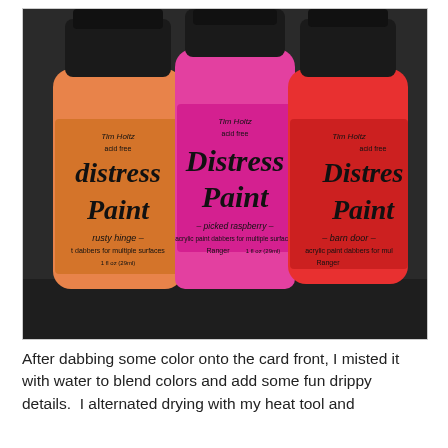[Figure (photo): Three bottles of Tim Holtz Distress Paint arranged side by side against a dark background. Left bottle is orange labeled 'rusty hinge', center bottle is hot pink labeled 'picked raspberry', right bottle is red labeled 'barn door'. All bottles have black caps and 'acid free' text.]
After dabbing some color onto the card front, I misted it with water to blend colors and add some fun drippy details.  I alternated drying with my heat tool and